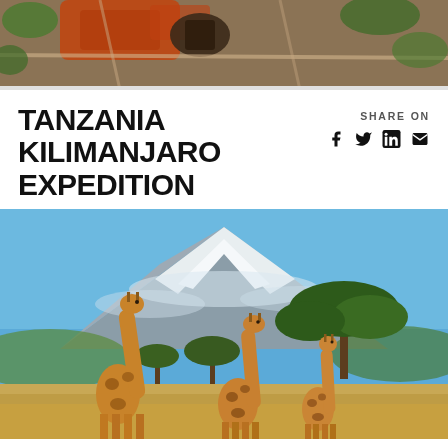[Figure (photo): Aerial/satellite view of a landscape with reddish soil, roads, and vegetation — partial crop at top of page]
TANZANIA KILIMANJARO EXPEDITION
SHARE ON [facebook] [twitter] [linkedin] [email]
[Figure (photo): Three giraffes standing on savanna grassland with Mount Kilimanjaro's snow-capped peak in background and acacia trees]